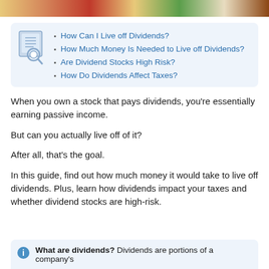[Figure (illustration): Colorful banner image strip at top of page showing food/lifestyle imagery]
How Can I Live off Dividends?
How Much Money Is Needed to Live off Dividends?
Are Dividend Stocks High Risk?
How Do Dividends Affect Taxes?
When you own a stock that pays dividends, you're essentially earning passive income.
But can you actually live off of it?
After all, that's the goal.
In this guide, find out how much money it would take to live off dividends. Plus, learn how dividends impact your taxes and whether dividend stocks are high-risk.
What are dividends? Dividends are portions of a company's